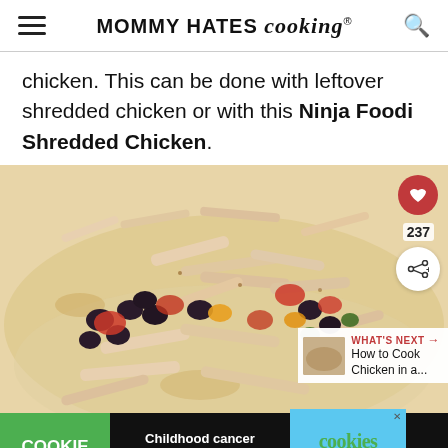MOMMY HATES cooking®
chicken. This can be done with leftover shredded chicken or with this Ninja Foodi Shredded Chicken.
[Figure (photo): Close-up photo of shredded chicken with black beans, tomatoes, and vegetables on a flour tortilla. Overlay shows heart/save button (237), share button, and 'WHAT'S NEXT → How to Cook Chicken in a...' panel.]
[Figure (infographic): Advertisement bar: COOKIE DOUGH (green) | Childhood cancer didn't stop for COVID-19. | cookies for kids' cancer GET BAKING (with X close button) | logo]